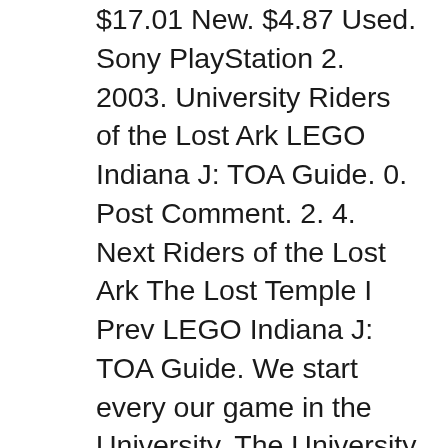$17.01 New. $4.87 Used. Sony PlayStation 2. 2003. University Riders of the Lost Ark LEGO Indiana J: TOA Guide. 0. Post Comment. 2. 4. Next Riders of the Lost Ark The Lost Temple I Prev LEGO Indiana J: TOA Guide. We start every our game in the University. The University is a place, where we can choose mission in which we want to participate, buy new heroes, check our scores, watch unlocked
Find all our Lego Indiana Jones 2: The Adventure Continues Cheats for Wii. Plus great forums, game help and a special question and answer system. All Free. Jan 16, 2020B B· LEGO Indiana Jones: the Original Adventures is an